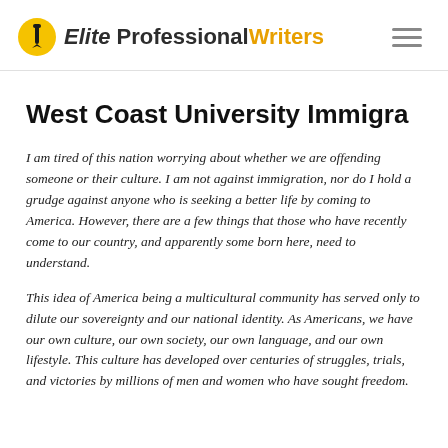Elite Professional Writers
West Coast University Immigra
I am tired of this nation worrying about whether we are offending someone or their culture. I am not against immigration, nor do I hold a grudge against anyone who is seeking a better life by coming to America. However, there are a few things that those who have recently come to our country, and apparently some born here, need to understand.
This idea of America being a multicultural community has served only to dilute our sovereignty and our national identity. As Americans, we have our own culture, our own society, our own language, and our own lifestyle. This culture has developed over centuries of struggles, trials, and victories by millions of men and women who have sought freedom.